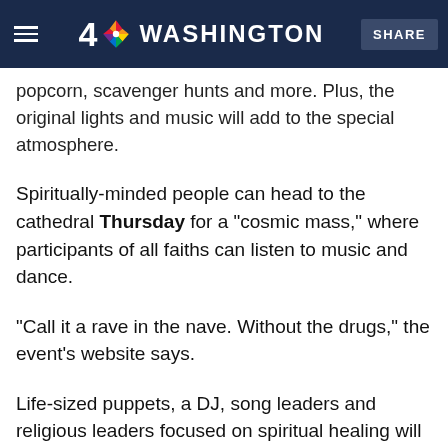4 NBC WASHINGTON | SHARE
Kids will be excited by Wednesday's carnival night at the National Cathedral — games, prizes, popcorn, scavenger hunts and more. Plus, the original lights and music will add to the special atmosphere.
Spiritually-minded people can head to the cathedral Thursday for a "cosmic mass," where participants of all faiths can listen to music and dance.
"Call it a rave in the nave. Without the drugs," the event's website says.
Life-sized puppets, a DJ, song leaders and religious leaders focused on spiritual healing will set the tone for an experience most visitors don't find at the Gothic church.
Looking for a cheap Friday night outing? Bring a picnic for